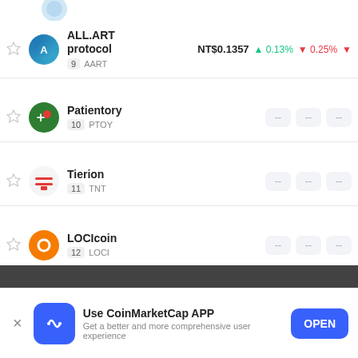ALL.ART protocol | 9 AART | NT$0.1357 | +0.13% | -0.25%
Patientory | 10 PTOY | -- | -- | --
Tierion | 11 TNT | -- | -- | --
LOCIcoin | 12 LOCI | -- | -- | --
Japan Content Token | 13 JCT | -- | -- | --
cookies
cookies
Use CoinMarketCap APP
Get a better and more comprehensive user experience